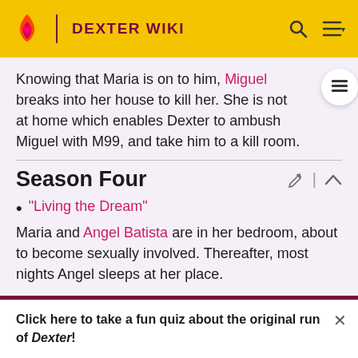DEXTER WIKI
Knowing that Maria is on to him, Miguel breaks into her house to kill her. She is not at home which enables Dexter to ambush Miguel with M99, and take him to a kill room.
Season Four
"Living the Dream"
Maria and Angel Batista are in her bedroom, about to become sexually involved. Thereafter, most nights Angel sleeps at her place.
Click here to take a fun quiz about the original run of Dexter!